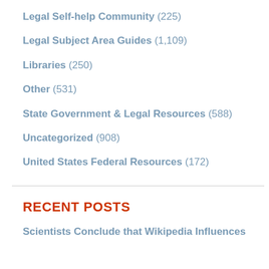Legal Self-help Community (225)
Legal Subject Area Guides (1,109)
Libraries (250)
Other (531)
State Government & Legal Resources (588)
Uncategorized (908)
United States Federal Resources (172)
RECENT POSTS
Scientists Conclude that Wikipedia Influences